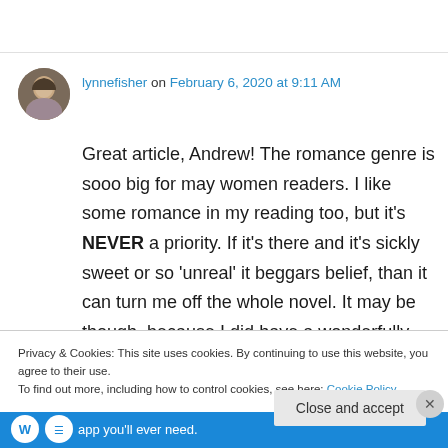lynnefisher on February 6, 2020 at 9:11 AM
Great article, Andrew! The romance genre is sooo big for may women readers. I like some romance in my reading too, but it's NEVER a priority. If it's there and it's sickly sweet or so 'unreal' it beggars belief, than it can turn me off the whole novel. It may be though, because I did have a wonderfully romantic falling in love with
Privacy & Cookies: This site uses cookies. By continuing to use this website, you agree to their use.
To find out more, including how to control cookies, see here: Cookie Policy
Close and accept